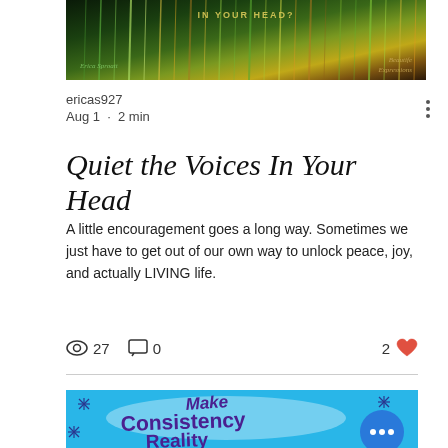[Figure (photo): Header image with colorful aurora-like vertical light streaks on dark green/brown background, with text 'IN YOUR HEAD?' at top, script signature on left, 'Beautife Expressions' text on right]
ericas927
Aug 1 · 2 min
Quiet the Voices In Your Head
A little encouragement goes a long way. Sometimes we just have to get out of our own way to unlock peace, joy, and actually LIVING life.
👁 27  💬 0  2 ♥
[Figure (illustration): Blue background graphic with decorative stars/sparkles and text 'Make Consistency' in purple script, partially visible, with circular menu button overlay]